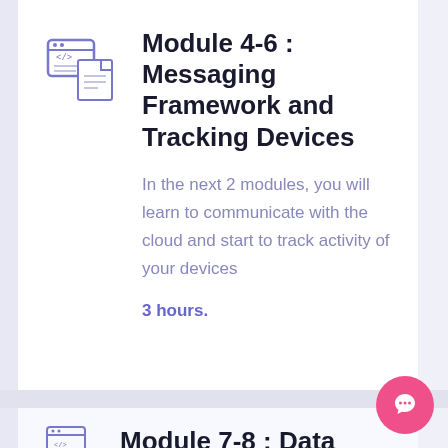[Figure (illustration): Code/document icon in blue-purple outline style showing a browser window with code and document symbols]
Module 4-6 : Messaging Framework and Tracking Devices
In the next 2 modules, you will learn to communicate with the cloud and start to track activity of your devices
3 hours.
[Figure (illustration): Code/document icon in blue-purple outline style, partially visible at bottom]
Module 7-8 : Data